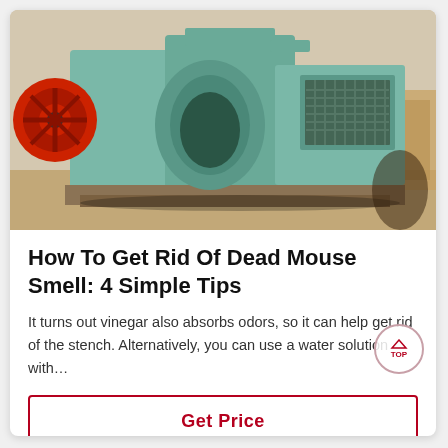[Figure (photo): A large industrial machine (appears to be a heavy-duty crusher or electric motor/generator) painted in light teal/green color, with a red flywheel visible on the left side and a mesh ventilation grille on the right. The machine sits on wooden supports or a pallet on a concrete floor, photographed in an industrial setting.]
How To Get Rid Of Dead Mouse Smell: 4 Simple Tips
It turns out vinegar also absorbs odors, so it can help get rid of the stench. Alternatively, you can use a water solution with…
Get Price